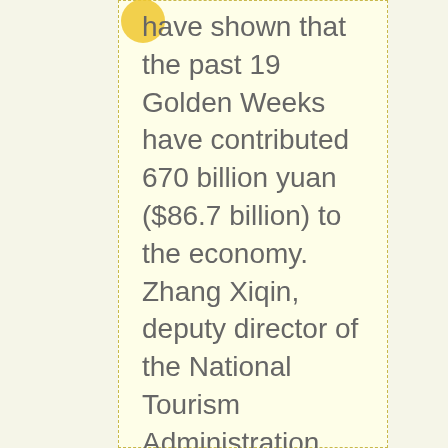have shown that the past 19 Golden Weeks have contributed 670 billion yuan ($86.7 billion) to the economy. Zhang Xiqin, deputy director of the National Tourism Administration, said: "With per capita Gross Domestic Product (GDP) estimated to keep growing, there is a huge potential for tourism development during the Golden Week holidays." He said that developing tourism and expanding domestic consumption and demand was good for the economy and the trade surplus, unlike investment, "which is already